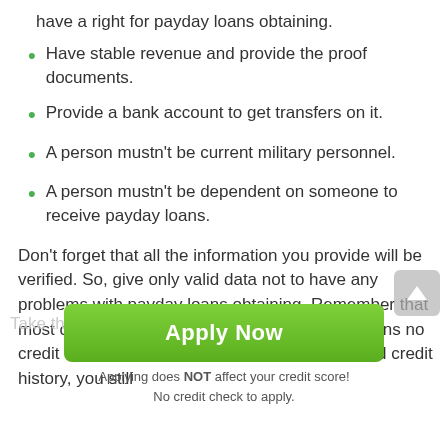have a right for payday loans obtaining.
Have stable revenue and provide the proof documents.
Provide a bank account to get transfers on it.
A person mustn't be current military personnel.
A person mustn't be dependent on someone to receive payday loans.
Don't forget that all the information you provide will be verified. So, give only valid data not to have any problems with payday loans obtaining. Remember that most of the credit companies provide payday loans no credit check services. So, even if you have a bad credit history, you still
[Figure (other): Green 'Apply Now' call-to-action button with subtitle text 'Applying does NOT affect your credit score! No credit check to apply.']
Take the advantage of using...